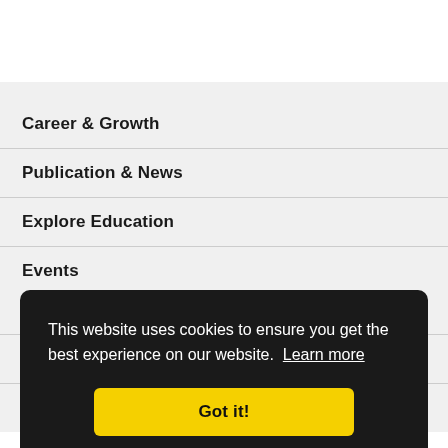Career & Growth
Publication & News
Explore Education
Events
Communities
About ASCE
Donate
This website uses cookies to ensure you get the best experience on our website.  Learn more
Got it!